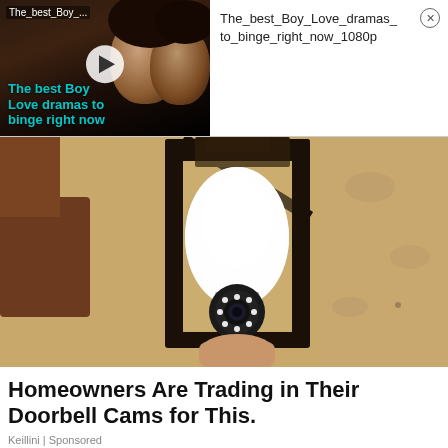[Figure (screenshot): Video thumbnail showing two people in a dark scene with teal overlay text 'The best Boy Love dramas to binge right now' and a play button. Title bar reads 'The_best_Boy_....']
The_best_Boy_Love_dramas_to_binge_right_now_1080p
[Figure (photo): Close-up photo of a surveillance camera shaped like a light bulb installed inside a black outdoor wall lantern fixture mounted on a stucco wall]
Homeowners Are Trading in Their Doorbell Cams for This.
Keillini | Sponsored